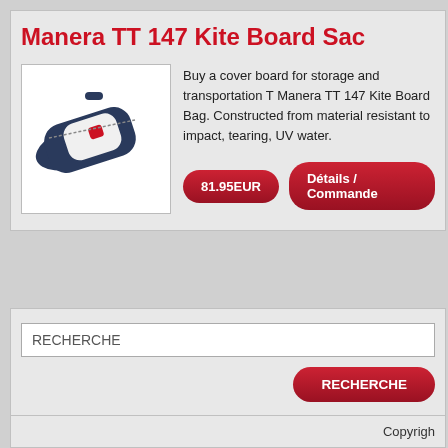Manera TT 147 Kite Board Sac
[Figure (photo): Photo of a Manera TT 147 Kite Board Bag – a dark navy blue padded board bag with white panel and red accents]
Buy a cover board for storage and transportation T Manera TT 147 Kite Board Bag. Constructed from material resistant to impact, tearing, UV water.
81.95EUR
Détails / Commande
RECHERCHE
RECHERCHE
Copyrigh